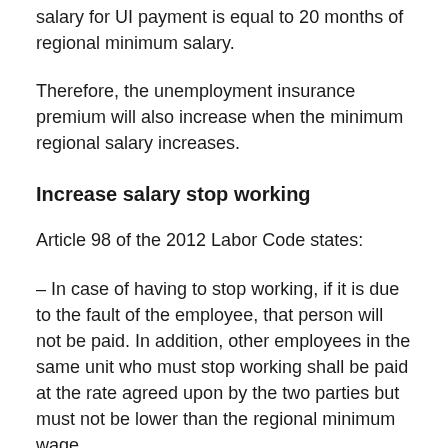salary for UI payment is equal to 20 months of regional minimum salary.
Therefore, the unemployment insurance premium will also increase when the minimum regional salary increases.
Increase salary stop working
Article 98 of the 2012 Labor Code states:
– In case of having to stop working, if it is due to the fault of the employee, that person will not be paid. In addition, other employees in the same unit who must stop working shall be paid at the rate agreed upon by the two parties but must not be lower than the regional minimum wage.